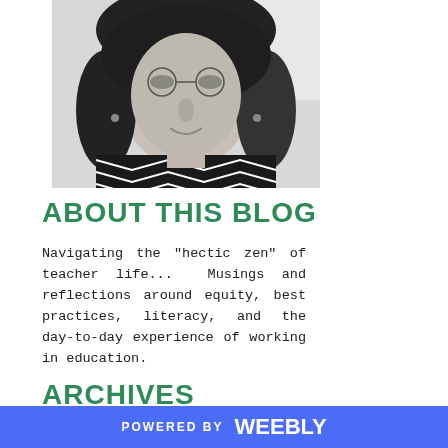[Figure (photo): Black and white portrait photo of a woman with long dark hair, wearing a patterned black and white top, cropped at the shoulders]
ABOUT THIS BLOG
Navigating the "hectic zen" of teacher life...  Musings and reflections around equity, best practices, literacy, and the day-to-day experience of working in education.
ARCHIVES
August 2020
January 2019
POWERED BY weebly